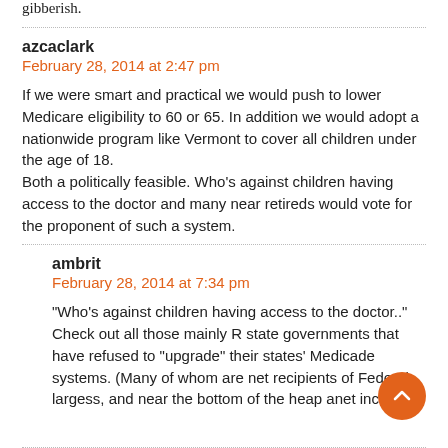gibberish.
azcaclark
February 28, 2014 at 2:47 pm
If we were smart and practical we would push to lower Medicare eligibility to 60 or 65. In addition we would adopt a nationwide program like Vermont to cover all children under the age of 18.
Both a politically feasible. Who’s against children having access to the doctor and many near retireds would vote for the proponent of such a system.
ambrit
February 28, 2014 at 7:34 pm
“Who’s against children having access to the doctor..” Check out all those mainly R state governments that have refused to “upgrade” their states’ Medicade systems. (Many of whom are net recipients of Federal largess, and near the bottom of the heap anet incomes.)